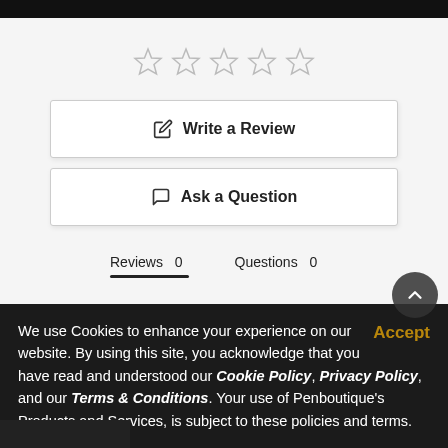[Figure (other): Five empty star rating icons displayed in a row]
Write a Review
Ask a Question
Reviews 0   Questions 0
We use Cookies to enhance your experience on our website. By using this site, you acknowledge that you have read and understood our Cookie Policy, Privacy Policy, and our Terms & Conditions. Your use of Penboutique's Products and Services, is subject to these policies and terms.
Accept